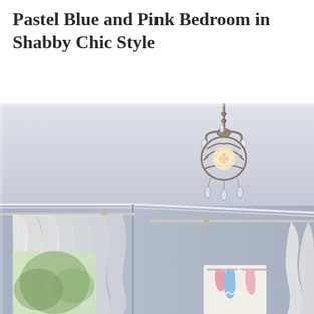Pastel Blue and Pink Bedroom in Shabby Chic Style
[Figure (photo): Interior photo of a shabby chic style bedroom. The room has soft pastel blue walls and a white ceiling with crown molding. A decorative crystal chandelier hangs from the ceiling center-right area. White sheer curtains hang on curtain rods at a window on the left. In the lower right corner, colorful clothing items in pink, blue, and white are visible on a clothes rack near a white canvas or board.]